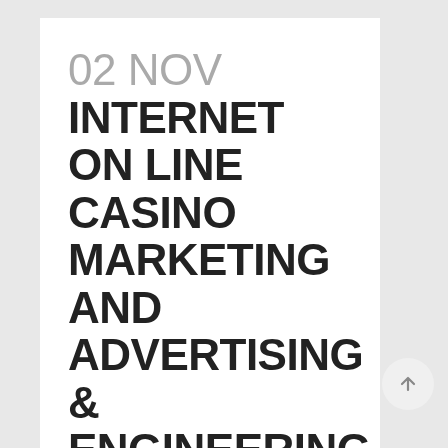02 NOV INTERNET ON LINE CASINO MARKETING AND ADVERTISING & ENGINEERING ESTABLISHED PRACTICE MERCHANDISE STYLE ABOUT WIRELESS TECHNOLOGY
Posted at 14:09h in Uncategorized by cynthia kimble · 0 Comments ·